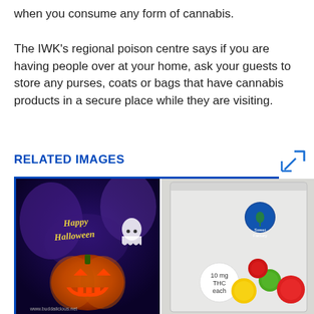when you consume any form of cannabis.
The IWK's regional poison centre says if you are having people over at your home, ask your guests to store any purses, coats or bags that have cannabis products in a secure place while they are visiting.
RELATED IMAGES
[Figure (photo): Two images side by side: left shows a Halloween-themed cannabis edibles bag with 'Happy Halloween' text and jack-o-lantern graphic, branded www.buddalicious.net; right shows a clear plastic bag of cannabis-infused candies labeled '10 mg THC each' with colorful round candies and a 'Sweet Factory' sticker.]